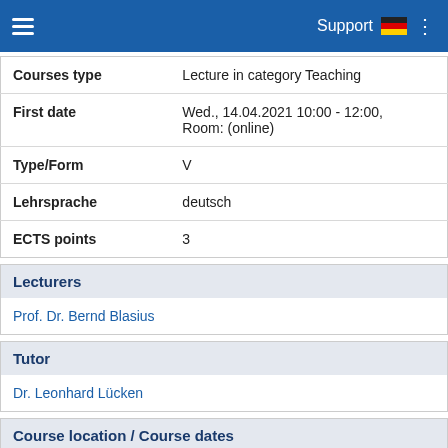Support
| Field | Value |
| --- | --- |
| Courses type | Lecture in category Teaching |
| First date | Wed., 14.04.2021 10:00 - 12:00, Room: (online) |
| Type/Form | V |
| Lehrsprache | deutsch |
| ECTS points | 3 |
Lecturers
Prof. Dr. Bernd Blasius
Tutor
Dr. Leonhard Lücken
Course location / Course dates